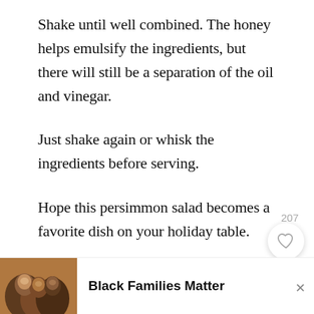Shake until well combined. The honey helps emulsify the ingredients, but there will still be a separation of the oil and vinegar.
Just shake again or whisk the ingredients before serving.
Hope this persimmon salad becomes a favorite dish on your holiday table.
[Figure (other): Like/heart button with count 207 and teal search button]
[Figure (other): Advertisement banner with photo of smiling family and text 'Black Families Matter']